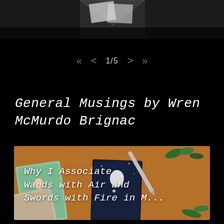[Figure (photo): Top portion of a dark styled image (tarot cards or photos on dark background), partially cropped]
« < 1/5 > »
General Musings by Wren McMurdo Brignac
[Figure (photo): Photo of tarot cards laid on an orange/brown wooden surface with a pen, plant leaves, and a black card with a white figure illustration. Text overlay reads: Why I Associate Wands with Air and Swords with Fire in M...]